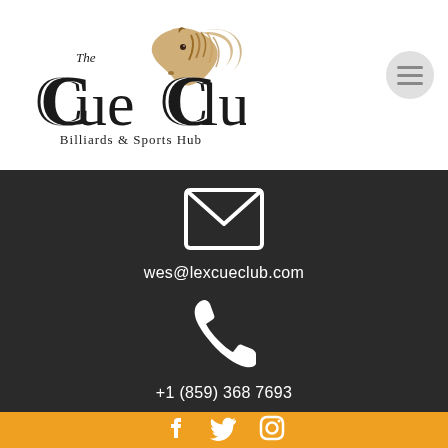[Figure (logo): The Cue Club - Billiards & Sports Hub logo with horse illustration in gold/brown tones]
wes@lexcueclub.com
+1 (859) 368 7693